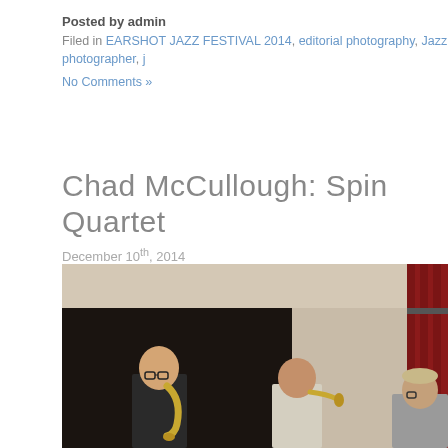Posted by admin
Filed in EARSHOT JAZZ FESTIVAL 2014, editorial photography, Jazz photographer, j...
No Comments »
Chad McCullough: Spin Quartet
December 10th, 2014
[Figure (photo): Jazz quartet performing on stage. Three musicians visible: a saxophone player on the left, a trumpet player in the middle, and a third musician on the right. Background features a red curtain on the right side and a beige/off-white wall with a dark doorway on the left.]